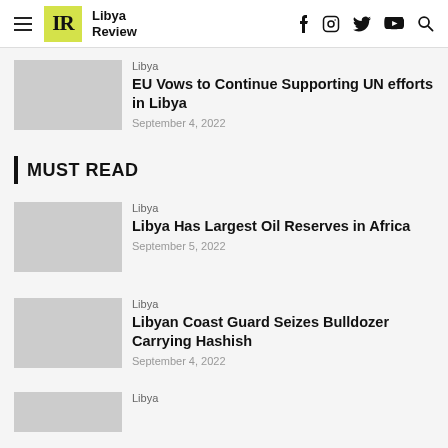Libya Review
Libya
EU Vows to Continue Supporting UN efforts in Libya
September 4, 2022
MUST READ
Libya
Libya Has Largest Oil Reserves in Africa
September 5, 2022
Libya
Libyan Coast Guard Seizes Bulldozer Carrying Hashish
September 4, 2022
Libya